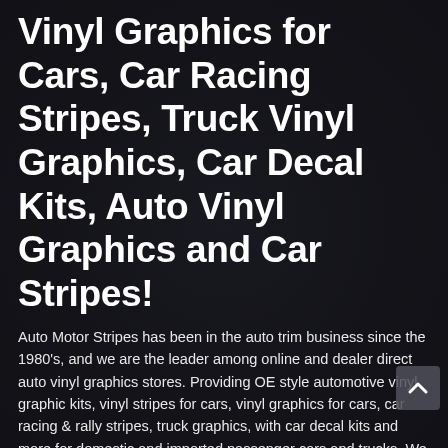Vinyl Graphics for Cars, Car Racing Stripes, Truck Vinyl Graphics, Car Decal Kits, Auto Vinyl Graphics and Car Stripes!
Auto Motor Stripes has been in the auto trim business since the 1980's, and we are the leader among online and dealer direct auto vinyl graphics stores. Providing OE style automotive vinyl graphic kits, vinyl stripes for cars, vinyl graphics for cars, car racing & rally stripes, truck graphics, with car decal kits and more for domestic and imported passenger cars and trucks. We use a modern order processing system that allows us to supply our customers with quality vinyl graphic body stripes, universal fit vinyl car stripe kits, cut-to-fit vehicle specific vinyl graphic kits, and more that are shipped speedy fast to automotive dealerships, professional installers and retail customers in the United States, Canada and world-wide. Our auto vinyl graphic kits warehouses are located across the USA which means your orders will ship fast so you can have them quickly for installation.